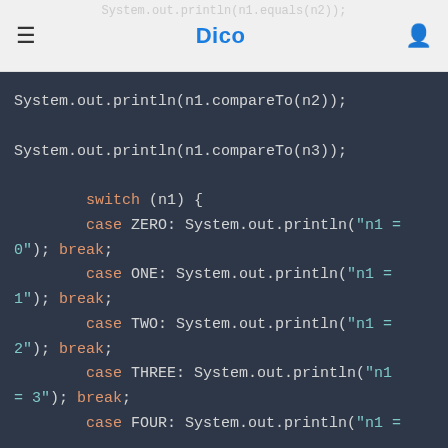Dico — System.out.println(n1.equals(n2));
System.out.println(n1.compareTo(n2));

System.out.println(n1.compareTo(n3));

        switch (n1) {
        case ZERO: System.out.println("n1 = 0"); break;
        case ONE: System.out.println("n1 = 1"); break;
        case TWO: System.out.println("n1 = 2"); break;
        case THREE: System.out.println("n1 = 3"); break;
        case FOUR: System.out.println("n1 =